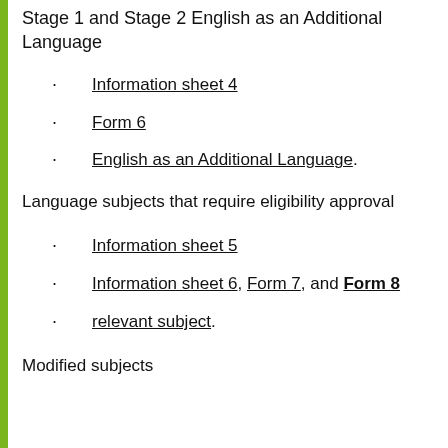Stage 1 and Stage 2 English as an Additional Language
Information sheet 4
Form 6
English as an Additional Language.
Language subjects that require eligibility approval
Information sheet 5
Information sheet 6, Form 7, and Form 8
relevant subject.
Modified subjects